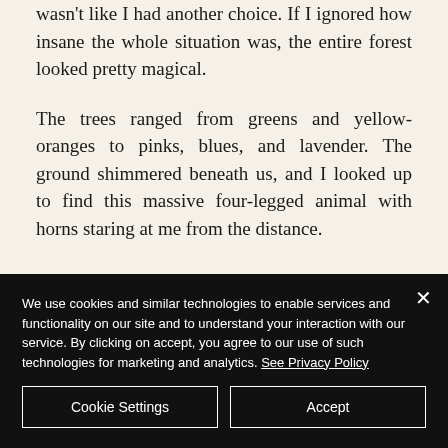wasn't like I had another choice. If I ignored how insane the whole situation was, the entire forest looked pretty magical.
The trees ranged from greens and yellow-oranges to pinks, blues, and lavender. The ground shimmered beneath us, and I looked up to find this massive four-legged animal with horns staring at me from the distance.
We use cookies and similar technologies to enable services and functionality on our site and to understand your interaction with our service. By clicking on accept, you agree to our use of such technologies for marketing and analytics. See Privacy Policy